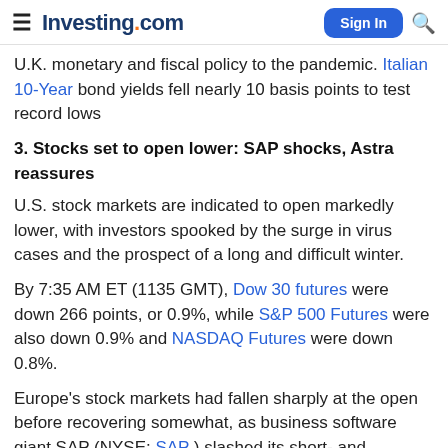Investing.com
U.K. monetary and fiscal policy to the pandemic. Italian 10-Year bond yields fell nearly 10 basis points to test record lows
3. Stocks set to open lower: SAP shocks, Astra reassures
U.S. stock markets are indicated to open markedly lower, with investors spooked by the surge in virus cases and the prospect of a long and difficult winter.
By 7:35 AM ET (1135 GMT), Dow 30 futures were down 266 points, or 0.9%, while S&P 500 Futures were also down 0.9% and NASDAQ Futures were down 0.8%.
Europe's stock markets had fallen sharply at the open before recovering somewhat, as business software giant SAP (NYSE: SAP ) slashed its short- and medium-term